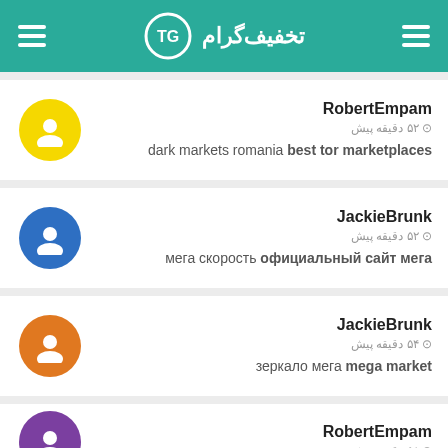تخفیف‌گرام TG
RobertEmpam
⊙ ۵۲ دقیقه پیش
dark markets romania best tor marketplaces
JackieBrunk
⊙ ۵۲ دقیقه پیش
мега скорость официальный сайт мега
JackieBrunk
⊙ ۵۴ دقیقه پیش
зеркало мега mega market
RobertEmpam
⊙ ۵۸ دقیقه پیش